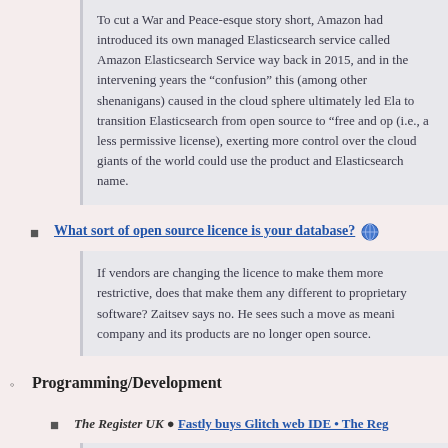To cut a War and Peace-esque story short, Amazon had introduced its own managed Elasticsearch service called Amazon Elasticsearch Service way back in 2015, and in the intervening years the “confusion” this (among other shenanigans) caused in the cloud sphere ultimately led Ela to transition Elasticsearch from open source to “free and op (i.e., a less permissive license), exerting more control over the cloud giants of the world could use the product and Elasticsearch name.
What sort of open source licence is your database?
If vendors are changing the licence to make them more restrictive, does that make them any different to proprietary software? Zaitsev says no. He sees such a move as meani company and its products are no longer open source.
Programming/Development
The Register UK ● Fastly buys Glitch web IDE • The Reg
Content delivery network Fastly is purchasing Glitch, the company behind the web-based IDE of the same name.